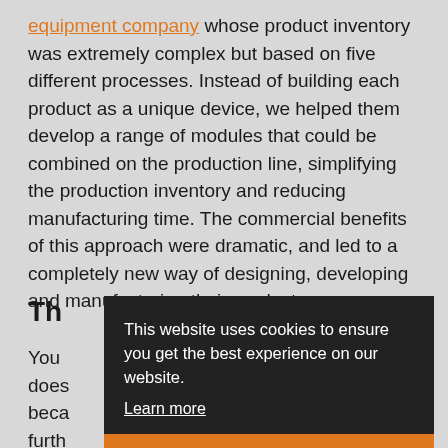equipment company whose product inventory was extremely complex but based on five different processes. Instead of building each product as a unique device, we helped them develop a range of modules that could be combined on the production line, simplifying the production inventory and reducing manufacturing time. The commercial benefits of this approach were dramatic, and led to a completely new way of designing, developing and manufacturing their product range.
Th
You does beca furth that if you don't know your market, have a clear
[Figure (screenshot): Cookie consent banner overlay with dark background. Text reads: 'This website uses cookies to ensure you get the best experience on our website.' with a 'Learn more' link and an orange 'Got it!' button.]